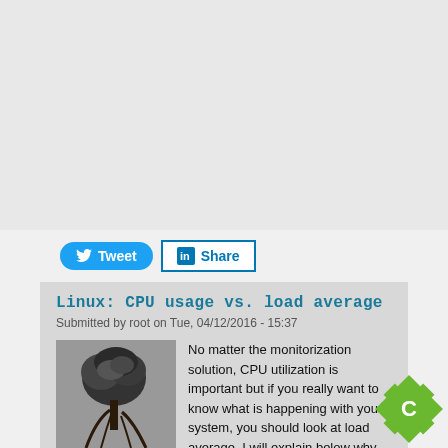[Figure (other): Social sharing buttons: Tweet (Twitter) and Share (LinkedIn)]
Linux: CPU usage vs. load average
Submitted by root on Tue, 04/12/2016 - 15:37
[Figure (photo): Black and white photo of a tree with roots]
No matter the monitorization solution, CPU utilization is important but if you really want to know what is happening with your system, you should look at load average. I will explain below why.
The current CPU utilization does not reflect the actual load of the system because when a host is heavily loaded, its CPU usage doesn't have to be necessary close to or at 100%.
Furthermore, the CPU utilization tends to generate (in monitoring tools) a significant number of false alerts, even if the percentage alert is close to 100%. Explanation follows.
There is one way you can benefit of this type of monitoring: to receive al when a server's CPU utilization is at 100% in 5 minutes interval.
In this situation, you could consider someone should take a look at this server even if this doesn't necessary mean the system is overloaded. If you